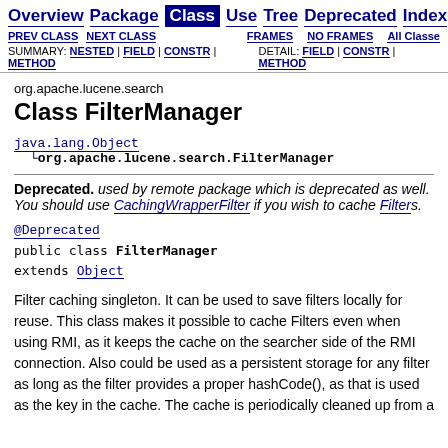Overview | Package | Class | Use | Tree | Deprecated | Index | H...
PREV CLASS | NEXT CLASS | FRAMES | NO FRAMES | All Classes
SUMMARY: NESTED | FIELD | CONSTR | METHOD   DETAIL: FIELD | CONSTR | METHOD
org.apache.lucene.search
Class FilterManager
java.lang.Object
  └org.apache.lucene.search.FilterManager
Deprecated. used by remote package which is deprecated as well. You should use CachingWrapperFilter if you wish to cache Filters.
@Deprecated
public class FilterManager
extends Object
Filter caching singleton. It can be used to save filters locally for reuse. This class makes it possible to cache Filters even when using RMI, as it keeps the cache on the searcher side of the RMI connection. Also could be used as a persistent storage for any filter as long as the filter provides a proper hashCode(), as that is used as the key in the cache. The cache is periodically cleaned up from a